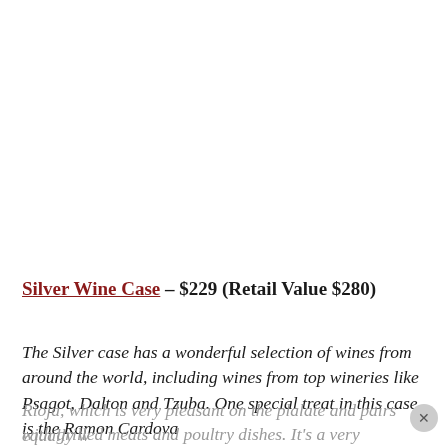Silver Wine Case – $229 (Retail Value $280)
The Silver case has a wonderful selection of wines from around the world, including wines from top wineries like Psagot, Dalton and Tzuba. One special treat in this case is the Ramon Cardova Rioja, which is very pleasant on the palate and pairs equally well with grilled meats and poultry dishes. It's a very enjoyable wine